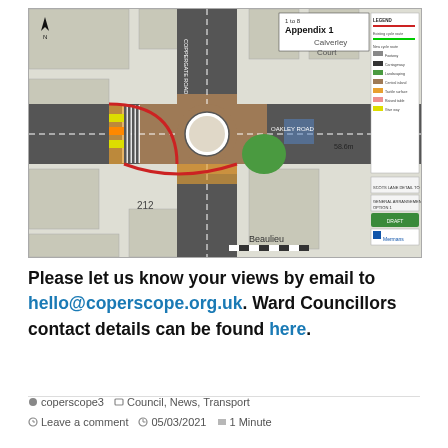[Figure (engineering-diagram): Engineering/planning diagram showing Appendix 1 - a roundabout junction redesign plan labeled 'Calverley Court', with road markings, cycle lanes, pedestrian crossings, legend, scale bar showing 58.6m, and a company logo (Mermans). The drawing shows detailed street-level infrastructure changes including colored cycle paths, zebra crossings, and road layout modifications.]
Please let us know your views by email to hello@coperscope.org.uk. Ward Councillors contact details can be found here.
coperscope3   Council, News, Transport   Leave a comment   05/03/2021   1 Minute